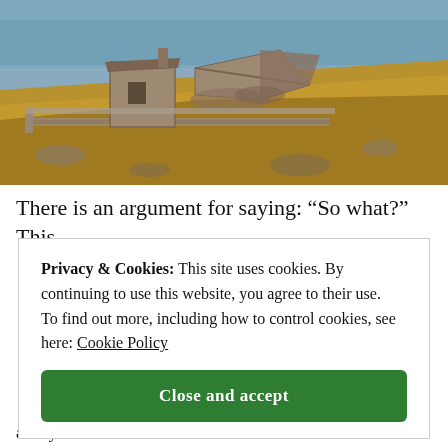[Figure (photo): Aerial or elevated view of a ruined stone building/cottage on a coastal hillside with dry grass and rocky terrain, water visible in the background.]
There is an argument for saying: “So what?” This
Privacy & Cookies: This site uses cookies. By continuing to use this website, you agree to their use.
To find out more, including how to control cookies, see here: Cookie Policy
Close and accept
always is in the world of film.